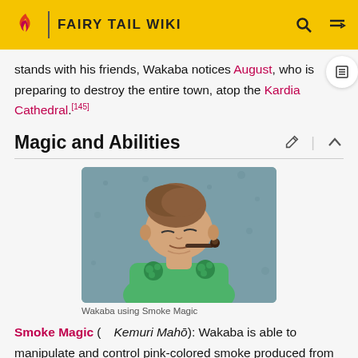FAIRY TAIL WIKI
stands with his friends, Wakaba notices August, who is preparing to destroy the entire town, atop the Kardia Cathedral.[145]
Magic and Abilities
[Figure (illustration): Anime screenshot of Wakaba, a man with brown hair wearing a green outfit, smoking a pipe. Caption: Wakaba using Smoke Magic]
Wakaba using Smoke Magic
Smoke Magic ( Kemuri Mahō): Wakaba is able to manipulate and control pink-colored smoke produced from his pipe and use it in combat.[13] Wakaba is able to